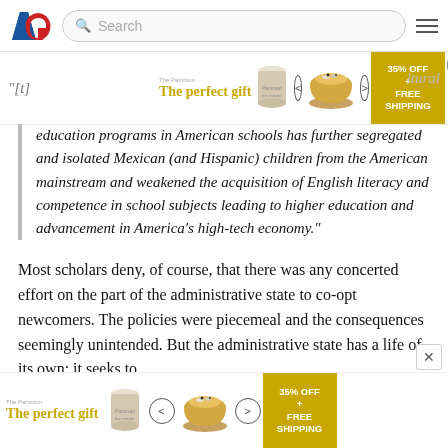[Figure (screenshot): American Greatness (AG) website navigation bar with logo, search box, and hamburger menu]
[Figure (screenshot): Advertisement banner: 'The perfect gift' with food bowl image, navigation arrows, and 35% OFF + FREE SHIPPING promo box]
"[t]he ... cultural education programs in American schools has further segregated and isolated Mexican (and Hispanic) children from the American mainstream and weakened the acquisition of English literacy and competence in school subjects leading to higher education and advancement in America's high-tech economy."
Most scholars deny, of course, that there was any concerted effort on the part of the administrative state to co-opt newcomers. The policies were piecemeal and the consequences seemingly unintended. But the administrative state has a life of its own: it seeks to
[Figure (screenshot): Advertisement banner at bottom: 'The perfect gift' with food bowl image, navigation arrows, and 35% OFF + FREE SHIPPING promo box]